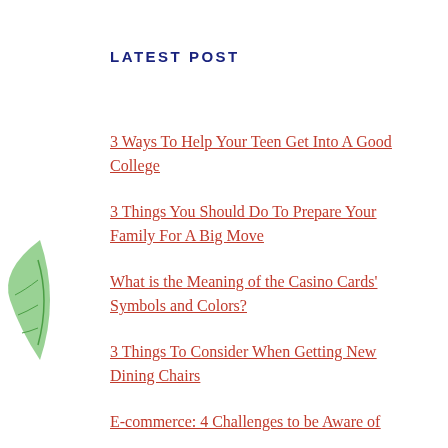LATEST POST
3 Ways To Help Your Teen Get Into A Good College
3 Things You Should Do To Prepare Your Family For A Big Move
What is the Meaning of the Casino Cards' Symbols and Colors?
3 Things To Consider When Getting New Dining Chairs
E-commerce: 4 Challenges to be Aware of